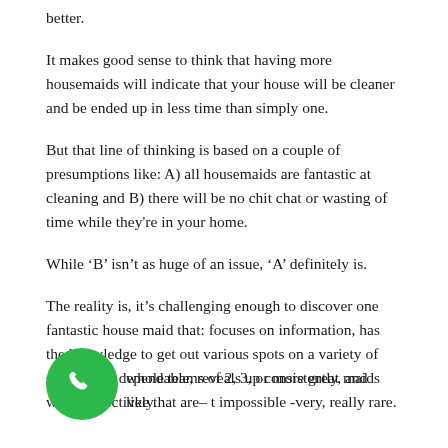better.
It makes good sense to think that having more housemaids will indicate that your house will be cleaner and be ended up in less time than simply one.
But that line of thinking is based on a couple of presumptions like: A) all housemaids are fantastic at cleaning and B) there will be no chit chat or wasting of time while they're in your home.
While ‘B’ isn’t as huge of an issue, ‘A’ definitely is.
The reality is, it’s challenging enough to discover one fantastic house maid that: focuses on information, has the knowledge to get out various spots on a variety of surfaces, is dependable, reveals up consistently, and works effectively.
[Figure (other): Green circular phone call button icon]
whole teams of 2, 3, or more great maids like that are– t impossible -very, really rare.